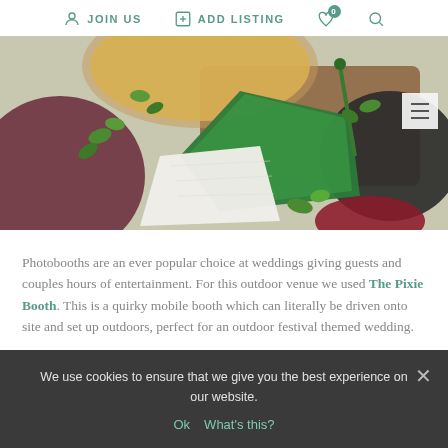JOIN US  ADD LISTING  0  [search]
[Figure (photo): Overhead view of an artisan cheese board with various cheeses including a bright green wax-coated cheese, white soft cheese, yellow cheese, purple/maroon plate, dark plate, and fresh green herb garnishes on a wooden board.]
Photobooths are an ever popular choice at weddings giving guests and couples hours of entertainment. For this outdoor venue we used The Pixie Booth. This is a quirky mobile booth which can literally be driven onto site and set up outdoors, perfect for an outdoor festival themed wedding.
We use cookies to ensure that we give you the best experience on our website.
Ok  What's this?